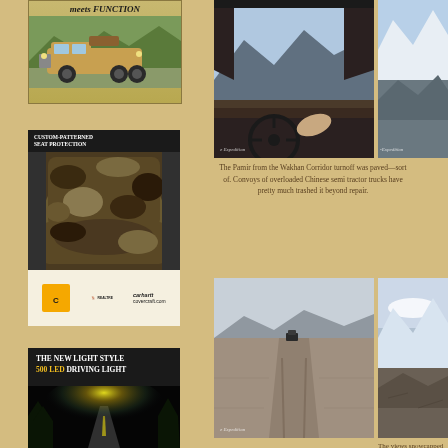[Figure (photo): Advertisement: 'meets FUNCTION' heading with off-road vehicle/truck in outdoor terrain]
[Figure (photo): Advertisement: Custom-patterned seat protection with camouflage seat covers, Carhartt and Realtree logos, covercraft.com]
[Figure (photo): Advertisement: 'THE NEW LIGHT STYLE 500 LED DRIVING LIGHT' with dark road lit by LED lights]
[Figure (photo): Photo of driving view from inside vehicle with mountains and the Pamir/Wakhan Corridor in background, watermark 'e Expedition']
[Figure (photo): Partial photo of snowy mountains, watermark '-Expedition']
The Pamir from the Wakhan Corridor turnoff was paved—sort of. Convoys of overloaded Chinese semi tractor trucks have pretty much trashed it beyond repair.
[Figure (photo): Photo of dusty/cracked road with a vehicle visible in distance, watermark 'e Expedition']
[Figure (photo): Partial photo of snowcapped rocky mountains]
The views snowcapped